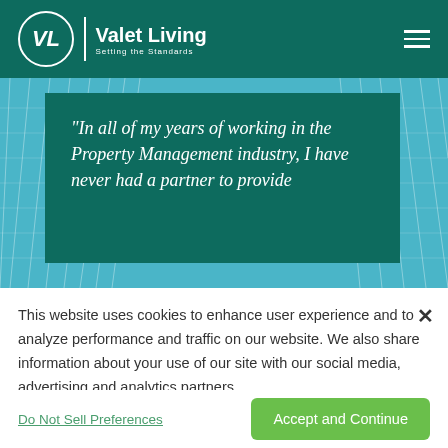[Figure (logo): Valet Living logo with VL monogram in circle, company name and tagline 'Setting the Standards', on dark teal header background with hamburger menu icon]
[Figure (photo): Background image of apartment building exterior with teal/cyan color overlay, geometric lines pattern]
"In all of my years of working in the Property Management industry, I have never had a partner to provide
This website uses cookies to enhance user experience and to analyze performance and traffic on our website. We also share information about your use of our site with our social media, advertising and analytics partners.
Do Not Sell Preferences
Accept and Continue